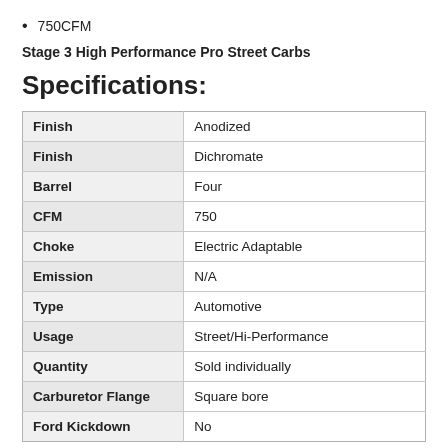750CFM
Stage 3 High Performance Pro Street Carbs
Specifications:
| Property | Value |
| --- | --- |
| Finish | Anodized |
| Finish | Dichromate |
| Barrel | Four |
| CFM | 750 |
| Choke | Electric Adaptable |
| Emission | N/A |
| Type | Automotive |
| Usage | Street/Hi-Performance |
| Quantity | Sold individually |
| Carburetor Flange | Square bore |
| Ford Kickdown | No |